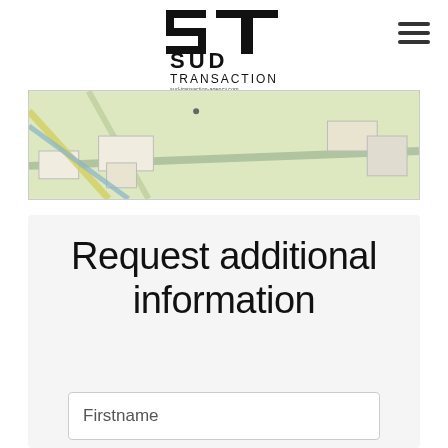[Figure (logo): ST Agency Sud Transaction logo with stylized ST letters and text 'SUD TRANSACTION sud-transaction-agency.com']
[Figure (map): Aerial/satellite map view showing green fields, roads, and white building outlines]
Request additional information
Firstname